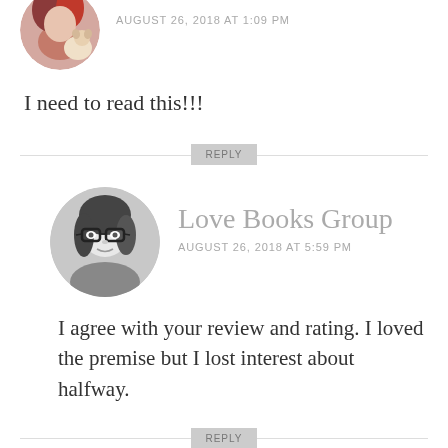[Figure (photo): Circular avatar photo of a person with a small dog, partially visible at top]
AUGUST 26, 2018 AT 1:09 PM
I need to read this!!!
REPLY
[Figure (photo): Circular avatar photo of Love Books Group - black and white photo of woman with glasses]
Love Books Group
AUGUST 26, 2018 AT 5:59 PM
I agree with your review and rating. I loved the premise but I lost interest about halfway.
REPLY
[Figure (photo): Circular avatar photo of SnazzyBooks, partially visible at bottom]
SnazzyBooks